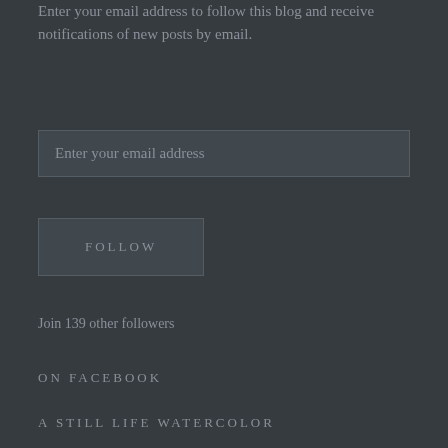Enter your email address to follow this blog and receive notifications of new posts by email.
Enter your email address
FOLLOW
Join 139 other followers
ON FACEBOOK
A STILL LIFE WATERCOLOR